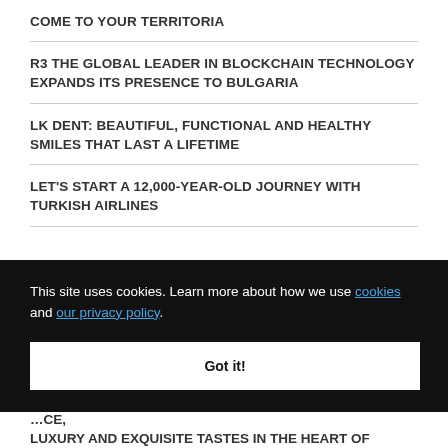COME TO YOUR TERRITORIA
R3 THE GLOBAL LEADER IN BLOCKCHAIN TECHNOLOGY EXPANDS ITS PRESENCE TO BULGARIA
LK DENT: BEAUTIFUL, FUNCTIONAL AND HEALTHY SMILES THAT LAST A LIFETIME
LET'S START A 12,000-YEAR-OLD JOURNEY WITH TURKISH AIRLINES
This site uses cookies. Learn more about how we use cookies and our privacy policy. Got it!
… LUXURY AND EXQUISITE TASTES IN THE HEART OF